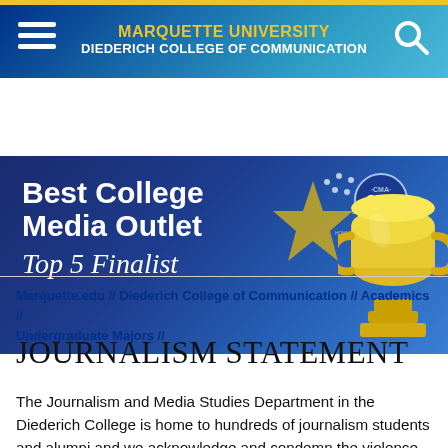MARQUETTE UNIVERSITY DIEDERICH COLLEGE OF COMMUNICATION
[Figure (infographic): Best College Media Outlet Top 5 Finalist banner with CMA (College Media Association) logo and gold trophy]
Marquette.edu // Diederich College of Communication // Academics // Undergraduate Majors //
JOURNALISM STATEMENT
The Journalism and Media Studies Department in the Diederich College is home to hundreds of journalism students and alumni and we acknowledge and condemn the violence that journalists, including our own, have faced as they try to do their jobs. We stand